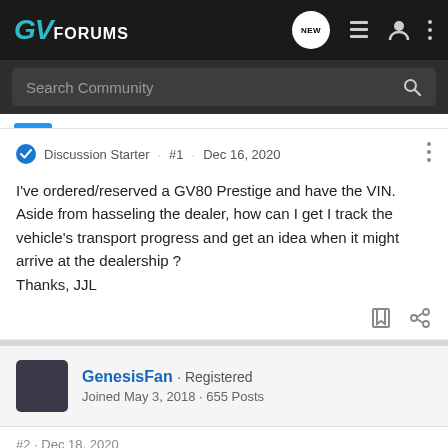GV FORUMS
Search Community
Discussion Starter · #1 · Dec 16, 2020
I've ordered/reserved a GV80 Prestige and have the VIN. Aside from hasseling the dealer, how can I get I track the vehicle's transport progress and get an idea when it might arrive at the dealership ?
Thanks, JJL
GenesisFan · Registered
Joined May 3, 2018 · 655 Posts
#2 · Dec 18, 2020